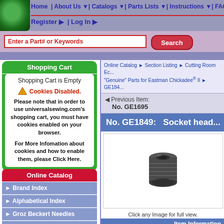Home | About Us | Catalogs | Parts Lists | Instructions | FAQs | Site
Register | Log In
Enter a Part# or Keywords
Search
Shopping Cart
Shopping Cart is Empty
Cookies Disabled.
Please note that in order to use universalsewing.com's shopping cart, you must have cookies enabled on your browser.

For More Infomation about cookies and how to enable them, please Click Here.
Online Catalog
Brand Index
Alphabetical Index
Groz Beckert Needles
Schmetz Needles
Other Needles
Safety
Online Catalog ▷ Section Listing ▷ Cutting Room Ec... "Genuine" Parts for Eastman Chickadee® II ▷ GE184...
◀ Previous Item: No. GE1695
No. GE1849:   Socket head...
[Figure (photo): Socket head set screw, dark metallic, cylindrical with internal hex socket and threading]
Click any Image for full view.
| Item Information |
| --- |
| USS Part No.: | GE1849 |
| Unit of Sale: | EA |